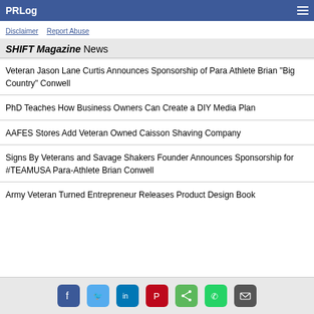PRLog
Disclaimer / Report Abuse
SHIFT Magazine News
Veteran Jason Lane Curtis Announces Sponsorship of Para Athlete Brian "Big Country" Conwell
PhD Teaches How Business Owners Can Create a DIY Media Plan
AAFES Stores Add Veteran Owned Caisson Shaving Company
Signs By Veterans and Savage Shakers Founder Announces Sponsorship for #TEAMUSA Para-Athlete Brian Conwell
Army Veteran Turned Entrepreneur Releases Product Design Book
Social share icons: Facebook, Twitter, LinkedIn, Pinterest, Share, WhatsApp, Email